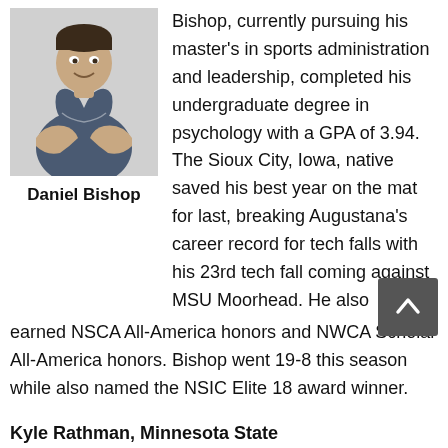[Figure (photo): Photo of Daniel Bishop, a male athlete in a wrestling singlet with arms crossed, smiling]
Daniel Bishop
Bishop, currently pursuing his master’s in sports administration and leadership, completed his undergraduate degree in psychology with a GPA of 3.94. The Sioux City, Iowa, native saved his best year on the mat for last, breaking Augustana’s career record for tech falls with his 23rd tech fall coming against MSU Moorhead. He also earned NSCA All-America honors and NWCA Scholar All-America honors. Bishop went 19-8 this season while also named the NSIC Elite 18 award winner.
Kyle Rathman, Minnesota State University, Mankato
Rathman, a senior who has a 3.49 GPA and is majoring in marketing, is a three-time All-American who finished